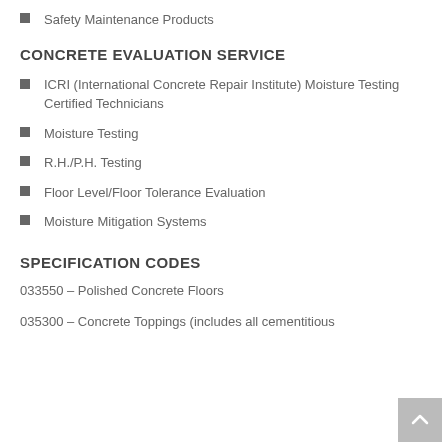Safety Maintenance Products
CONCRETE EVALUATION SERVICE
ICRI (International Concrete Repair Institute) Moisture Testing Certified Technicians
Moisture Testing
R.H./P.H. Testing
Floor Level/Floor Tolerance Evaluation
Moisture Mitigation Systems
SPECIFICATION CODES
033550 – Polished Concrete Floors
035300 – Concrete Toppings (includes all cementitious